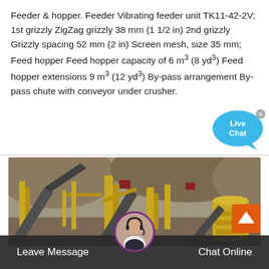Feeder & hopper. Feeder Vibrating feeder unit TK11-42-2V; 1st grizzly ZigZag grizzly 38 mm (1 1/2 in) 2nd grizzly Grizzly spacing 52 mm (2 in) Screen mesh, size 35 mm; Feed hopper Feed hopper capacity of 6 m³ (8 yd³) Feed hopper extensions 9 m³ (12 yd³) By-pass arrangement By-pass chute with conveyor under crusher.
[Figure (photo): Photograph of a large yellow mining/crushing plant with conveyors and equipment on a hillside background]